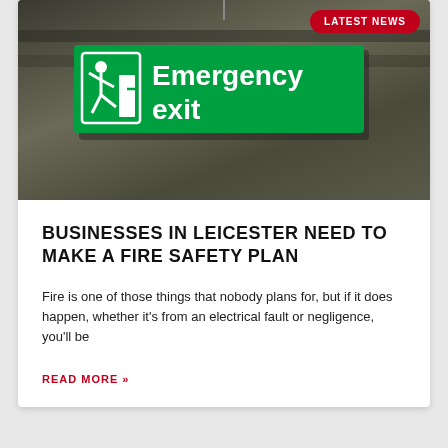[Figure (photo): Emergency exit green sign hanging from ceiling of a building, photographed in sepia/muted tones]
LATEST NEWS
BUSINESSES IN LEICESTER NEED TO MAKE A FIRE SAFETY PLAN
Fire is one of those things that nobody plans for, but if it does happen, whether it's from an electrical fault or negligence, you'll be
READ MORE »